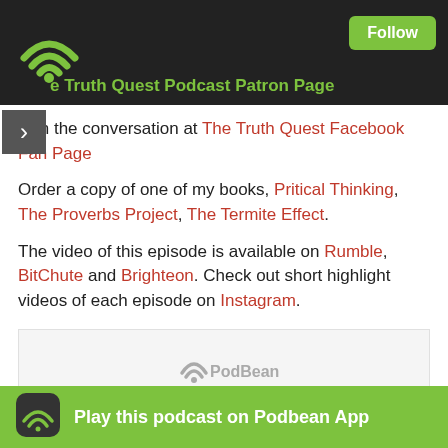e Truth Quest Podcast Patron Page
Join the conversation at The Truth Quest Facebook Fan Page
Order a copy of one of my books, Pritical Thinking, The Proverbs Project, The Termite Effect.
The video of this episode is available on Rumble, BitChute and Brighteon. Check out short highlight videos of each episode on Instagram.
[Figure (other): PodBean podcast player embed widget with logo and loading dots]
Read Full Post »
Ep. 162 - The Truth About Nixon's Closure of the Gold Window
Posted in constitution, james madison, article l section 8, federal reserve, the fed, gold sta... on Aug 22nd, 2021
Play this podcast on Podbean App